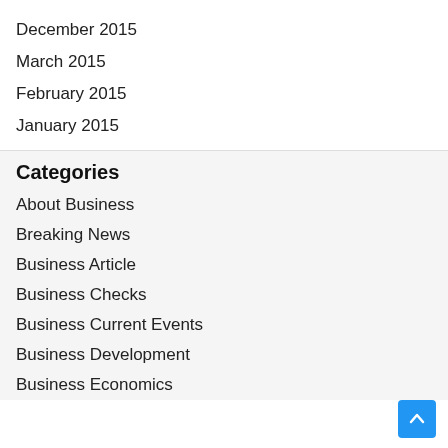December 2015
March 2015
February 2015
January 2015
Categories
About Business
Breaking News
Business Article
Business Checks
Business Current Events
Business Development
Business Economics